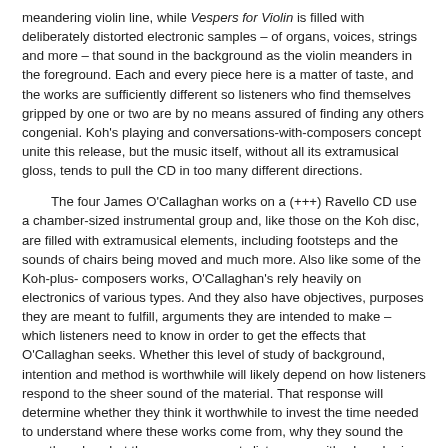meandering violin line, while Vespers for Violin is filled with deliberately distorted electronic samples – of organs, voices, strings and more – that sound in the background as the violin meanders in the foreground. Each and every piece here is a matter of taste, and the works are sufficiently different so listeners who find themselves gripped by one or two are by no means assured of finding any others congenial. Koh's playing and conversations-with-composers concept unite this release, but the music itself, without all its extramusical gloss, tends to pull the CD in too many different directions.
The four James O'Callaghan works on a (+++) Ravello CD use a chamber-sized instrumental group and, like those on the Koh disc, are filled with extramusical elements, including footsteps and the sounds of chairs being moved and much more. Also like some of the Koh-plus-composers works, O'Callaghan's rely heavily on electronics of various types. And they also have objectives, purposes they are meant to fulfill, arguments they are intended to make – which listeners need to know in order to get the effects that O'Callaghan seeks. Whether this level of study of background, intention and method is worthwhile will likely depend on how listeners respond to the sheer sound of the material. That response will determine whether they think it worthwhile to invest the time needed to understand where these works come from, why they sound the way they do, what the composer wants listeners – with whom he is, in effect, conversing – to hear, and how he expects them to hold up their end of the conversation. subject / object (no capital letters)